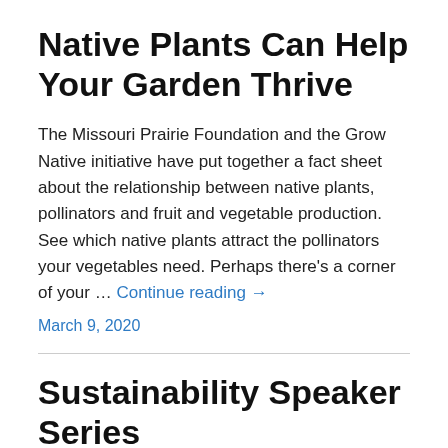Native Plants Can Help Your Garden Thrive
The Missouri Prairie Foundation and the Grow Native initiative have put together a fact sheet about the relationship between native plants, pollinators and fruit and vegetable production. See which native plants attract the pollinators your vegetables need. Perhaps there's a corner of your … Continue reading →
March 9, 2020
Sustainability Speaker Series
Learn about pollinator conservation from three speakers at